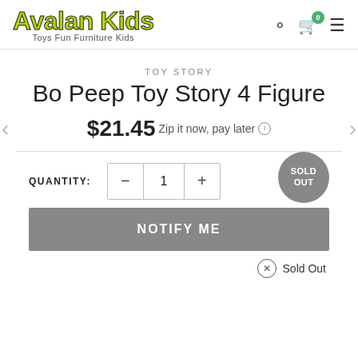Avalan Kids — Toys Fun Furniture Kids
TOY STORY
Bo Peep Toy Story 4 Figure
$21.45 Zip it now, pay later
QUANTITY: 1
SOLD OUT
NOTIFY ME
Sold Out